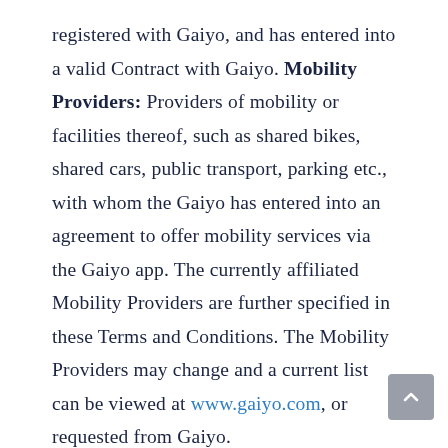registered with Gaiyo, and has entered into a valid Contract with Gaiyo. Mobility Providers: Providers of mobility or facilities thereof, such as shared bikes, shared cars, public transport, parking etc., with whom the Gaiyo has entered into an agreement to offer mobility services via the Gaiyo app. The currently affiliated Mobility Providers are further specified in these Terms and Conditions. The Mobility Providers may change and a current list can be viewed at www.gaiyo.com, or requested from Gaiyo.